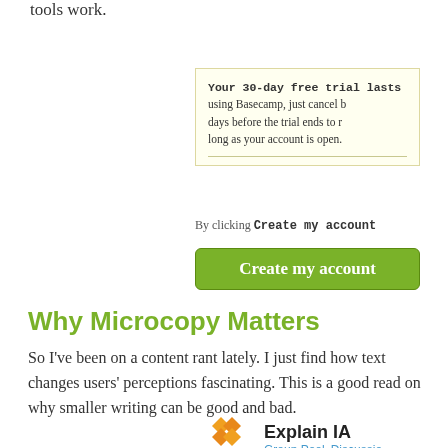tools work.
[Figure (screenshot): Yellow-tinted info box about 30-day free trial with text: 'Your 30-day free trial lasts using Basecamp, just cancel b days before the trial ends to r long as your account is open.']
By clicking Create my account
[Figure (screenshot): Green button labeled 'Create my account']
Why Microcopy Matters
So I've been on a content rant lately. I just find how text changes users' perceptions fascinating. This is a good read on why smaller writing can be good and bad.
[Figure (logo): Explain IA logo with orange/yellow diamond grid icon, title 'Explain IA', and links 'Group Pool  Discussion']